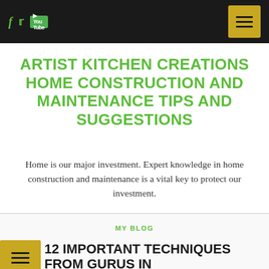f | Twitter | YouTube | [menu button]
ARTIST KITCHEN CREATIONS HOME CONSTRUCTION AND MAINTENANCE TIPS AND SUGGESTIONS
Home is our major investment. Expert knowledge in home construction and maintenance is a vital key to protect our investment.
MY BLOG
12 IMPORTANT TECHNIQUES FROM GURUS IN